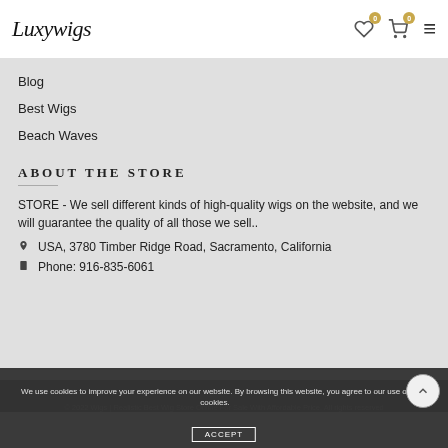Luxywigs
Blog
Best Wigs
Beach Waves
ABOUT THE STORE
STORE - We sell different kinds of high-quality wigs on the website, and we will guarantee the quality of all those we sell..
USA, 3780 Timber Ridge Road, Sacramento, California
Phone: 916-835-6061
© 2022 Wigs | Realistic Best Wig Store Online For Sale With Affordable Price. All rights reserved
We use cookies to improve your experience on our website. By browsing this website, you agree to our use of cookies.